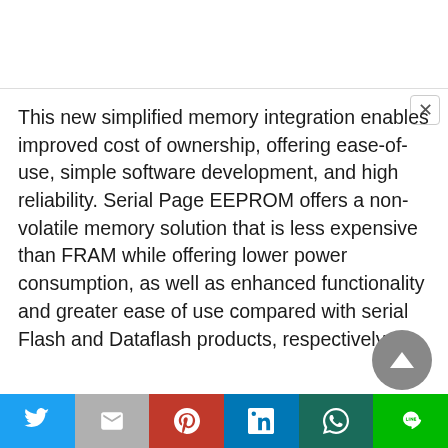This new simplified memory integration enables improved cost of ownership, offering ease-of-use, simple software development, and high reliability. Serial Page EEPROM offers a non-volatile memory solution that is less expensive than FRAM while offering lower power consumption, as well as enhanced functionality and greater ease of use compared with serial Flash and Dataflash products, respectively.